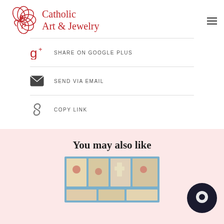Catholic Art & Jewelry
SHARE ON GOOGLE PLUS
SEND VIA EMAIL
COPY LINK
You may also like
[Figure (photo): Product image collage showing religious cards/art on blue background]